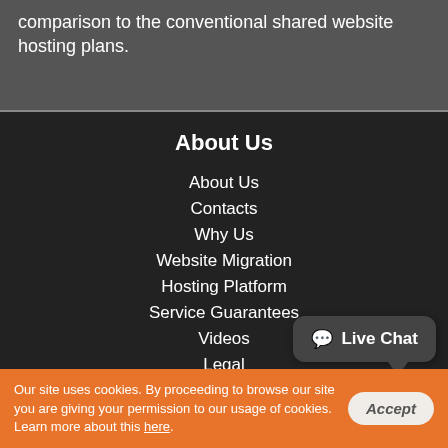comparison to the conventional shared website hosting plans.
About Us
About Us
Contacts
Why Us
Website Migration
Hosting Platform
Service Guarantees
Videos
Legal
Control Panel
Our site uses cookies. By proceeding to browse our site you are giving your permission to our usage of cookies. Learn more about this here.